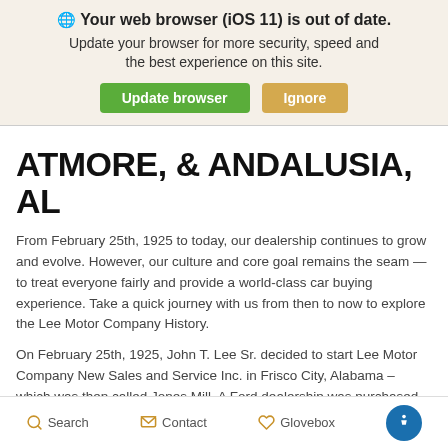🌐 Your web browser (iOS 11) is out of date. Update your browser for more security, speed and the best experience on this site. Update browser  Ignore
ATMORE, & ANDALUSIA, AL
From February 25th, 1925 to today, our dealership continues to grow and evolve. However, our culture and core goal remains the seam — to treat everyone fairly and provide a world-class car buying experience. Take a quick journey with us from then to now to explore the Lee Motor Company History.
On February 25th, 1925, John T. Lee Sr. decided to start Lee Motor Company New Sales and Service Inc. in Frisco City, Alabama – which was then called Jones Mill. A Ford dealership was purchased when the previous dealer was terminated for discounting a vehicle by $5.00. The dealership continued to function as a Ford dealership
Search   Contact   Glovebox   [Accessibility]